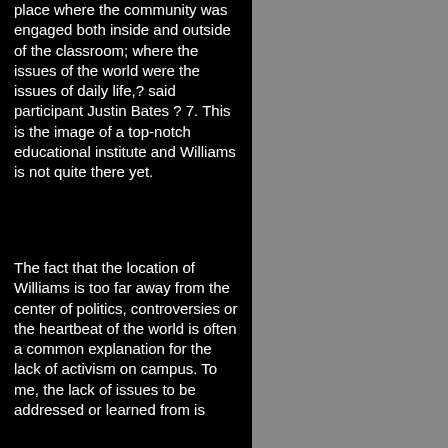place where the community was engaged both inside and outside of the classroom; where the issues of the world were the issues of daily life,? said participant Justin Bates ? 7. This is the image of a top-notch educational institute and Williams is not quite there yet.
The fact that the location of Williams is too far away from the center of politics, controversies or the heartbeat of the world is often a common explanation for the lack of activism on campus. To me, the lack of issues to be addressed or learned from is